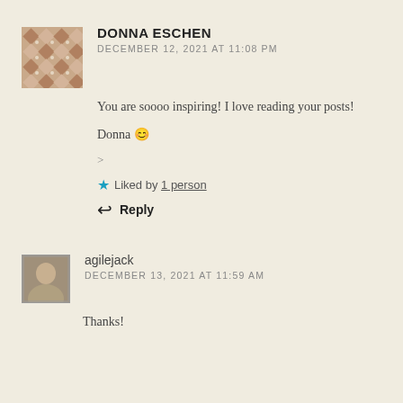[Figure (illustration): Decorative quilt-pattern avatar for Donna Eschen]
DONNA ESCHEN
DECEMBER 12, 2021 AT 11:08 PM
You are soooo inspiring! I love reading your posts!
Donna 😊
>
★ Liked by 1 person
↩ Reply
[Figure (photo): Small profile photo of agilejack]
agilejack
DECEMBER 13, 2021 AT 11:59 AM
Thanks!